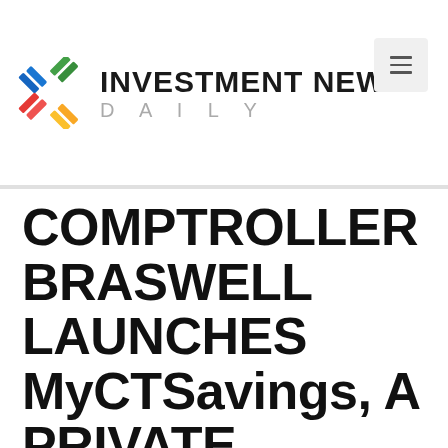[Figure (logo): Investment News Daily logo with colorful X/cross icon and bold text 'INVESTMENT NEWS' with 'DAILY' in light gray below]
COMPTROLLER BRASWELL LAUNCHES MyCTSavings, A PRIVATE SECTOR